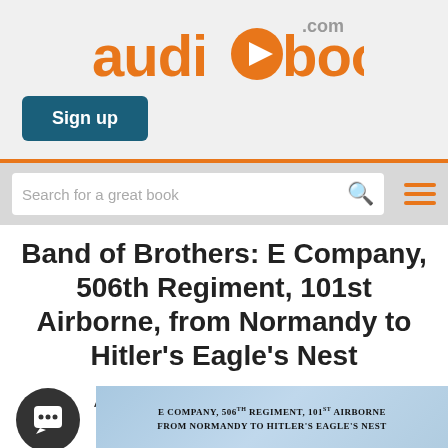[Figure (logo): audiobooks.com logo in orange with a play button icon inside the letter 'o']
Sign up
Search for a great book
Band of Brothers: E Company, 506th Regiment, 101st Airborne, from Normandy to Hitler's Eagle's Nest
Abridged / Go to Unabridged Audiobook
[Figure (photo): Book cover showing 'E Company, 506th Regiment, 101st Airborne from Normandy to Hitler's Eagle's Nest' with a sky background]